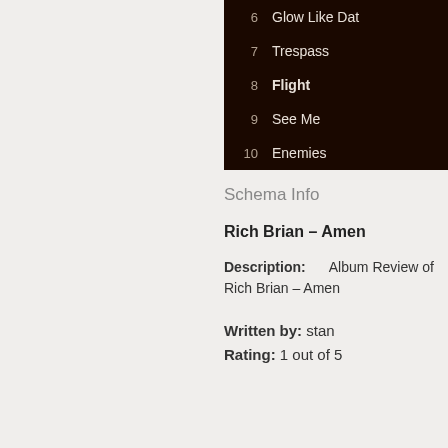6  Glow Like Dat
7  Trespass
8  Flight
9  See Me
10  Enemies
Schema Info
Rich Brian – Amen
Description: Album Review of Rich Brian – Amen
Written by: stan
Rating: 1 out of 5